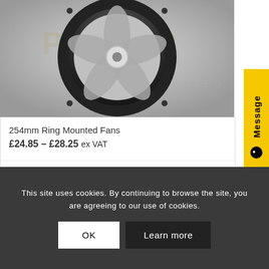[Figure (photo): Product photo of a 254mm ring mounted fan with black circular mounting ring, visible fan blades and motor, shown against a light background with a watermark logo reading PRODUCTS LIMITED]
254mm Ring Mounted Fans
£24.85 – £28.25 ex VAT
Select options
This site uses cookies. By continuing to browse the site, you are agreeing to our use of cookies.
OK
Learn more